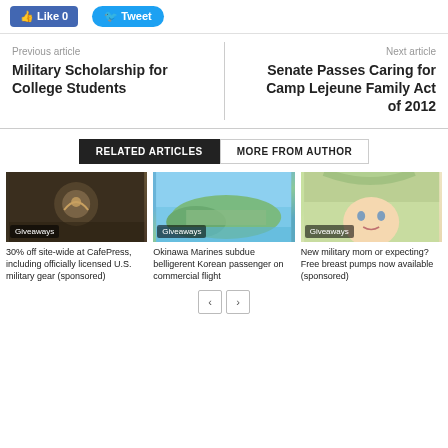[Figure (screenshot): Like 0 button (Facebook) and Tweet button (Twitter) social sharing buttons]
Previous article
Military Scholarship for College Students
Next article
Senate Passes Caring for Camp Lejeune Family Act of 2012
RELATED ARTICLES | MORE FROM AUTHOR
[Figure (photo): Marine Corps emblem / military gear - Giveaways]
30% off site-wide at CafePress, including officially licensed U.S. military gear (sponsored)
[Figure (photo): Aerial view of Okinawa peninsula - Giveaways]
Okinawa Marines subdue belligerent Korean passenger on commercial flight
[Figure (photo): Baby peeking under blanket - Giveaways]
New military mom or expecting? Free breast pumps now available (sponsored)